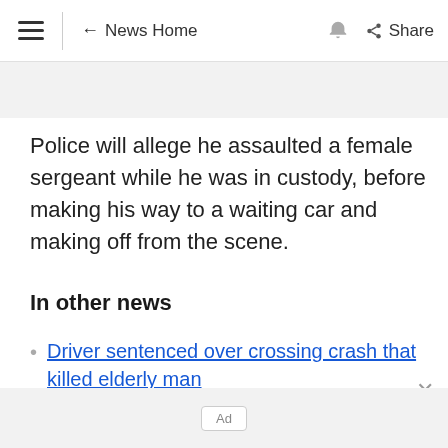≡ ← News Home 🔔 Share
Police will allege he assaulted a female sergeant while he was in custody, before making his way to a waiting car and making off from the scene.
In other news
Driver sentenced over crossing crash that killed elderly man